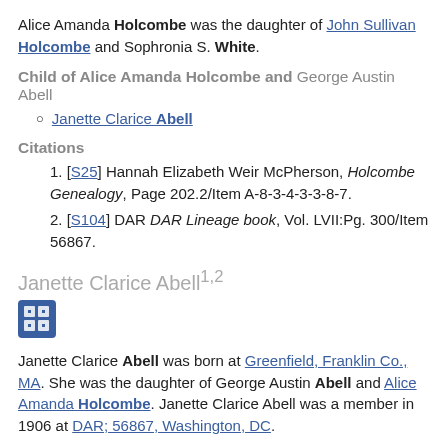Alice Amanda Holcombe was the daughter of John Sullivan Holcombe and Sophronia S. White.
Child of Alice Amanda Holcombe and George Austin Abell
Janette Clarice Abell
Citations
[S25] Hannah Elizabeth Weir McPherson, Holcombe Genealogy, Page 202.2/Item A-8-3-4-3-3-8-7.
[S104] DAR DAR Lineage book, Vol. LVII:Pg. 300/Item 56867.
Janette Clarice Abell1,2
[Figure (other): Small blue icon button with grid/table symbol]
Janette Clarice Abell was born at Greenfield, Franklin Co., MA. She was the daughter of George Austin Abell and Alice Amanda Holcombe. Janette Clarice Abell was a member in 1906 at DAR; 56867, Washington, DC.
Citations